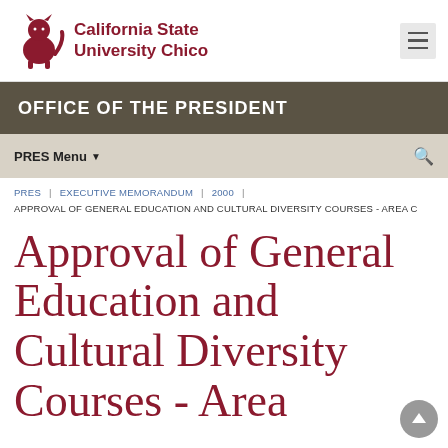California State University Chico
OFFICE OF THE PRESIDENT
PRES Menu
PRES | EXECUTIVE MEMORANDUM | 2000 | APPROVAL OF GENERAL EDUCATION AND CULTURAL DIVERSITY COURSES - AREA C
Approval of General Education and Cultural Diversity Courses - Area